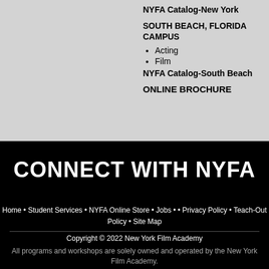NYFA Catalog-New York
SOUTH BEACH, FLORIDA CAMPUS
Acting
Film
NYFA Catalog-South Beach
ONLINE BROCHURE
CONNECT WITH NYFA
Home • Student Services • NYFA Online Store • Jobs • • Privacy Policy • Teach-Out Policy • Site Map
Copyright © 2022 New York Film Academy
All programs and workshops are solely owned and operated by the New York Film Academy.